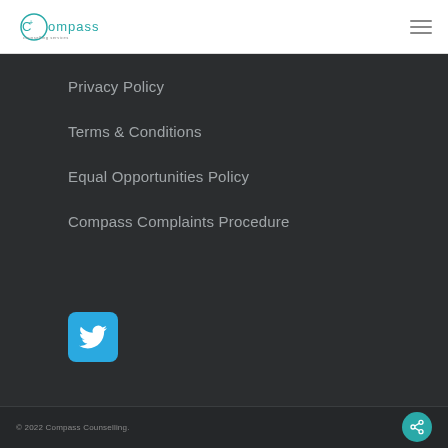Compass Counselling
Privacy Policy
Terms & Conditions
Equal Opportunities Policy
Compass Complaints Procedure
[Figure (logo): Twitter bird icon in a teal rounded square button]
© 2022 Compass Counselling.